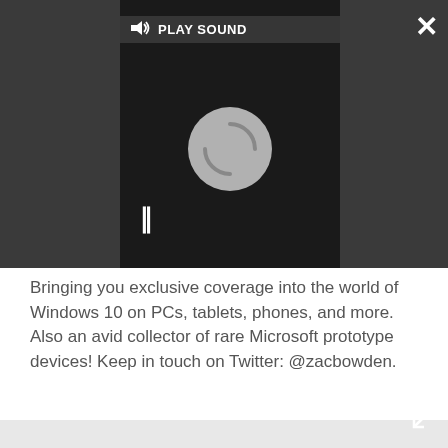[Figure (screenshot): Dark overlay media player with PLAY SOUND button, spinner/loading circle, and pause icon. Close (X) button top right, expand icon bottom right.]
Bringing you exclusive coverage into the world of Windows 10 on PCs, tablets, phones, and more. Also an avid collector of rare Microsoft prototype devices! Keep in touch on Twitter: @zacbowden.